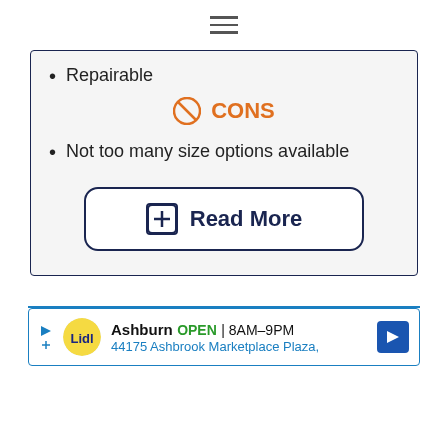≡
Repairable
🚫 CONS
Not too many size options available
⊞ Read More
Ashburn OPEN 8AM–9PM 44175 Ashbrook Marketplace Plaza,